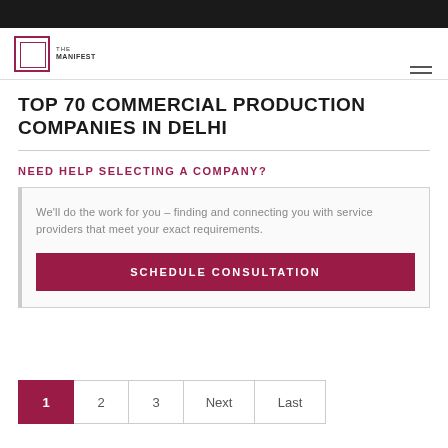THE MANIFEST
TOP 70 COMMERCIAL PRODUCTION COMPANIES IN DELHI
NEED HELP SELECTING A COMPANY?
We'll do the work for you – finding and connecting you with service providers that meet your exact requirements.
SCHEDULE CONSULTATION
1
2
3
Next
Last